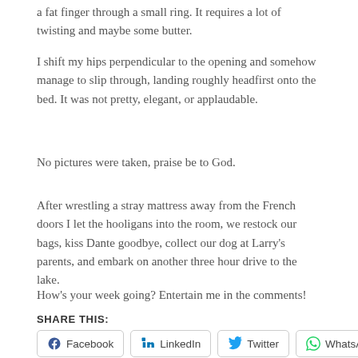a fat finger through a small ring. It requires a lot of twisting and maybe some butter.
I shift my hips perpendicular to the opening and somehow manage to slip through, landing roughly headfirst onto the bed. It was not pretty, elegant, or applaudable.
No pictures were taken, praise be to God.
After wrestling a stray mattress away from the French doors I let the hooligans into the room, we restock our bags, kiss Dante goodbye, collect our dog at Larry's parents, and embark on another three hour drive to the lake.
How's your week going? Entertain me in the comments!
SHARE THIS:
Facebook | LinkedIn | Twitter | WhatsApp